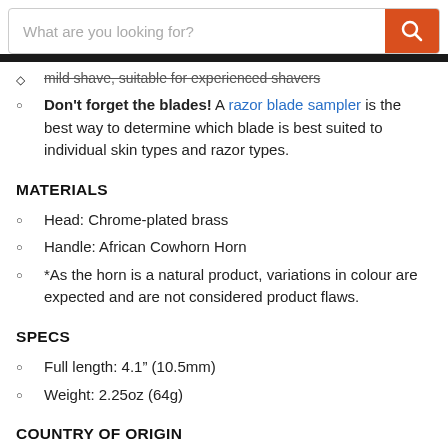[Figure (screenshot): Search bar with orange search button]
mild shave, suitable for experienced shavers
Don't forget the blades! A razor blade sampler is the best way to determine which blade is best suited to individual skin types and razor types.
MATERIALS
Head: Chrome-plated brass
Handle: African Cowhorn Horn
*As the horn is a natural product, variations in colour are expected and are not considered product flaws.
SPECS
Full length: 4.1" (10.5mm)
Weight: 2.25oz (64g)
COUNTRY OF ORIGIN